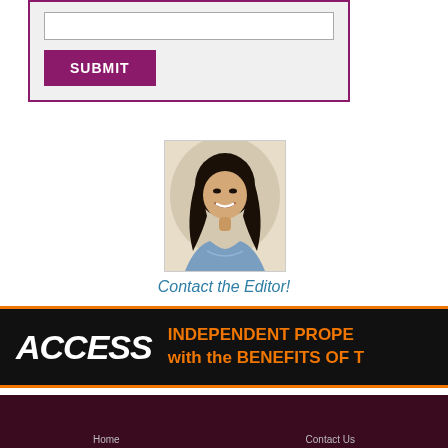[Figure (screenshot): Form section with a text input box and a purple SUBMIT button, inside a purple-bordered gray container]
[Figure (photo): Headshot photo of an Asian woman with long dark hair, smiling, wearing a blue patterned top]
Contact the Editor!
[Figure (logo): ACCESS logo advertisement banner with black background and orange border. Text: INDEPENDENT PROPE... with the BENEFITS OF T...]
[Figure (screenshot): Dark maroon footer bar at the bottom of the page]